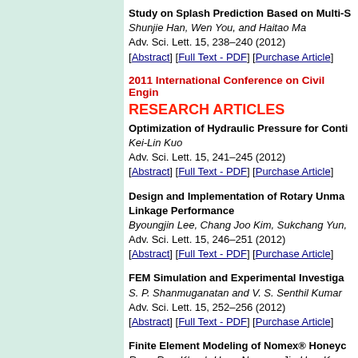Study on Splash Prediction Based on Multi-S
Shunjie Han, Wen You, and Haitao Ma
Adv. Sci. Lett. 15, 238–240 (2012)
[Abstract] [Full Text - PDF] [Purchase Article]
2011 International Conference on Civil Engin
RESEARCH ARTICLES
Optimization of Hydraulic Pressure for Conti
Kei-Lin Kuo
Adv. Sci. Lett. 15, 241–245 (2012)
[Abstract] [Full Text - PDF] [Purchase Article]
Design and Implementation of Rotary Unma Linkage Performance
Byoungjin Lee, Chang Joo Kim, Sukchang Yun,
Adv. Sci. Lett. 15, 246–251 (2012)
[Abstract] [Full Text - PDF] [Purchase Article]
FEM Simulation and Experimental Investiga
S. P. Shanmuganatan and V. S. Senthil Kumar
Adv. Sci. Lett. 15, 252–256 (2012)
[Abstract] [Full Text - PDF] [Purchase Article]
Finite Element Modeling of Nomex® Honeyc
Rene Roy, Khanh-Hung Nguyen, Jin-Hwe Kweo
Adv. Sci. Lett. 15, 257–261 (2012)
[Abstract] [Full Text - PDF] [Purchase Article]
Characterization of Surface Roughness and
Daekeon Ahn, Jin-Hwe Kweon, and Jin-Ho Cho
Adv. Sci. Lett. 15, 262–266 (2012)